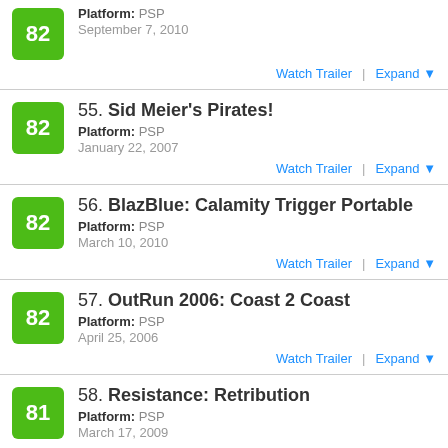Score: 82, Platform: PSP, September 7, 2010
55. Sid Meier's Pirates!, Platform: PSP, January 22, 2007
56. BlazBlue: Calamity Trigger Portable, Platform: PSP, March 10, 2010
57. OutRun 2006: Coast 2 Coast, Platform: PSP, April 25, 2006
58. Resistance: Retribution, Platform: PSP, March 17, 2009